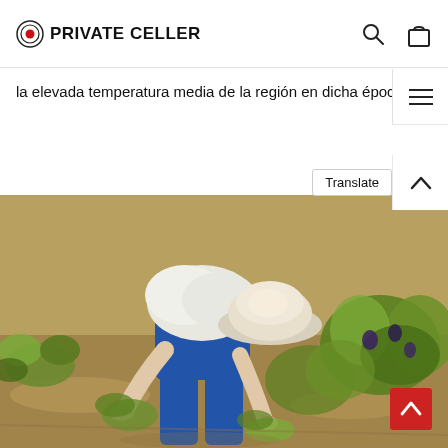PRIVATE CELLER
la elevada temperatura media de la región en dicha época.
[Figure (photo): A vineyard worker in blue overalls and a white hat bending down to harvest grapes among green grapevines, outdoors in sunny conditions.]